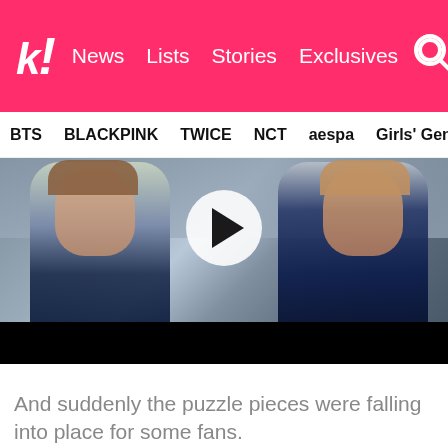k! News  Lists  Stories  Exclusives
BTS  BLACKPINK  TWICE  NCT  aespa  Girls' Generation
[Figure (screenshot): Video thumbnail showing two young men in blue jackets, with a white circular play button overlay in the center. The bottom portion is a black bar.]
And suddenly the puzzle pieces were falling into place for some fans.
[Figure (photo): Bottom portion of another image, showing a dark background with the top of a person's head visible.]